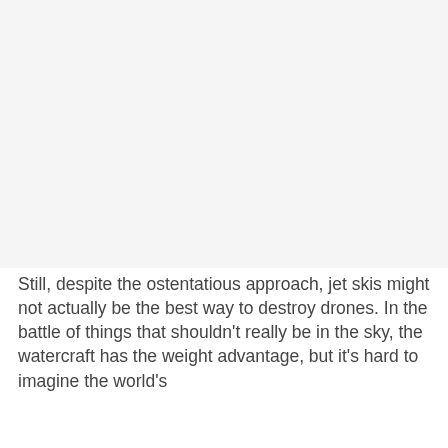[Figure (photo): Large blank/white image area occupying the top portion of the page]
Still, despite the ostentatious approach, jet skis might not actually be the best way to destroy drones. In the battle of things that shouldn't really be in the sky, the watercraft has the weight advantage, but it's hard to imagine the world's